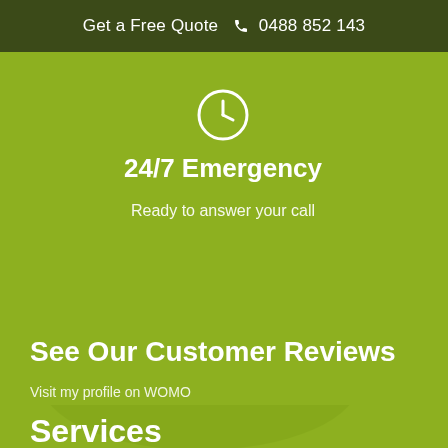Get a Free Quote  0488 852 143
24/7 Emergency
Ready to answer your call
See Our Customer Reviews
Visit my profile on WOMO
Services